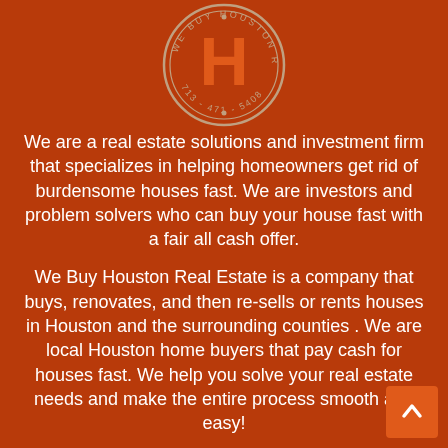[Figure (logo): Circular logo with letter H in orange and text around the circle reading 713-471-5408]
We are a real estate solutions and investment firm that specializes in helping homeowners get rid of burdensome houses fast. We are investors and problem solvers who can buy your house fast with a fair all cash offer.
We Buy Houston Real Estate is a company that buys, renovates, and then re-sells or rents houses in Houston and the surrounding counties . We are local Houston home buyers that pay cash for houses fast. We help you solve your real estate needs and make the entire process smooth and easy!